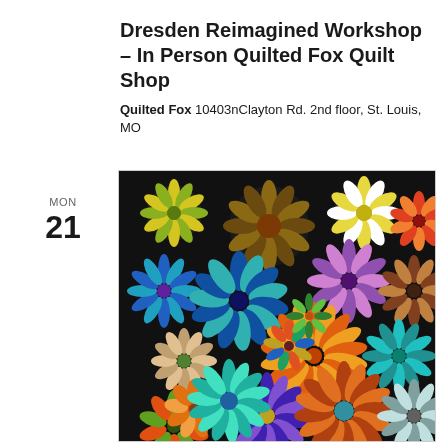Dresden Reimagined Workshop – In Person Quilted Fox Quilt Shop
Quilted Fox 10403nClayton Rd. 2nd floor, St. Louis, MO
MON 21
[Figure (photo): A colorful quilt featuring multiple Dresden plate flower medallions in various sizes and color combinations (blues, teals, oranges, yellows, greens, purples) arranged on a black background.]